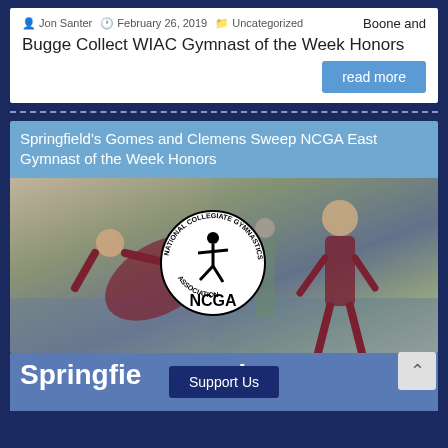Jon Santer   February 26, 2019   Uncategorized   Boone and
Bugge Collect WIAC Gymnast of the Week Honors
read more
Springfield's Gomes and Clemens Sweep NCGA East Gymnast of the Week Honors
[Figure (photo): Two gymnasts in maroon leotards performing gymnastics with NCGA (National Collegiate Gymnastics Association) logo overlaid]
Springfie  s and
Support Us